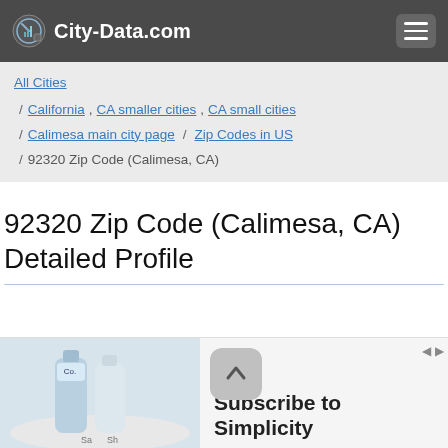City-Data.com
All Cities / California , CA smaller cities , CA small cities / Calimesa main city page / Zip Codes in US / 92320 Zip Code (Calimesa, CA)
92320 Zip Code (Calimesa, CA) Detailed Profile
[Figure (screenshot): Advertisement banner with product bottles on the left and 'Subscribe to Simplicity' text on the right, with a navigation arrow button overlay]